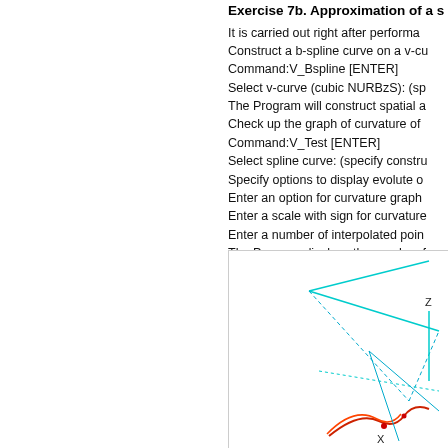Exercise 7b. Approximation of a s…
It is carried out right after performa…
Construct a b-spline curve on a v-cu…
Command:V_Bspline [ENTER]
Select v-curve (cubic NURBzS): (sp…
The Program will construct spatial a…
Check up the graph of curvature of …
Command:V_Test [ENTER]
Select spline curve: (specify constru…
Specify options to display evolute o…
Enter an option for curvature graph…
Enter a scale with sign for curvature…
Enter a number of interpolated poin…
The Program displays the graphs of…
[Figure (engineering-diagram): 3D engineering diagram showing a spline curve with axes X, Y, Z and curvature graph visualization]